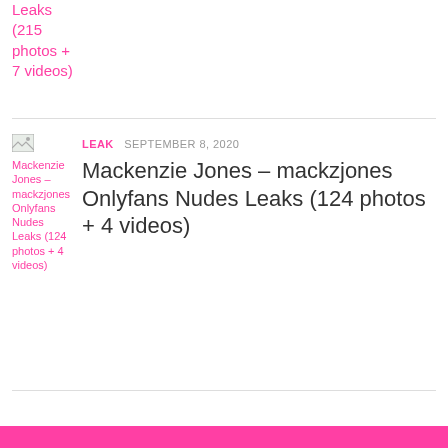Leaks (215 photos + 7 videos)
LEAK  SEPTEMBER 8, 2020
Mackenzie Jones – mackzjones Onlyfans Nudes Leaks (124 photos + 4 videos)
[Figure (photo): Thumbnail image placeholder for Mackenzie Jones – mackzjones Onlyfans Nudes Leaks (124 photos + 4 videos)]